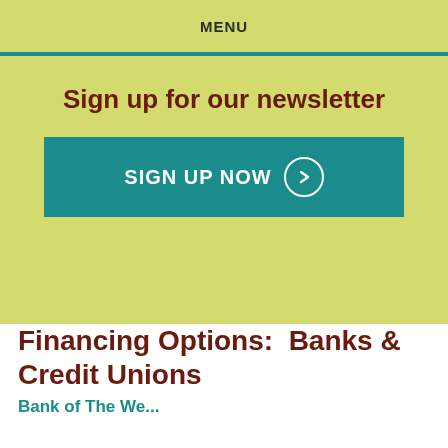MENU
Sign up for our newsletter
[Figure (other): Teal button with text SIGN UP NOW and a circle arrow icon]
Financing Options:  Banks & Credit Unions
Bank of The West...